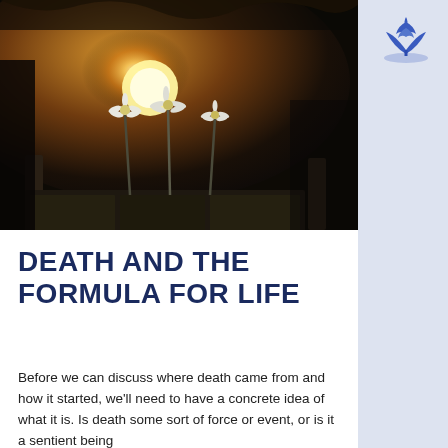[Figure (photo): Dark moody photograph of white daisy flowers in a wooden crate or planter with a golden sunset in the background]
DEATH AND THE FORMULA FOR LIFE
Before we can discuss where death came from and how it started, we'll need to have a concrete idea of what it is. Is death some sort of force or event, or is it a sentient being